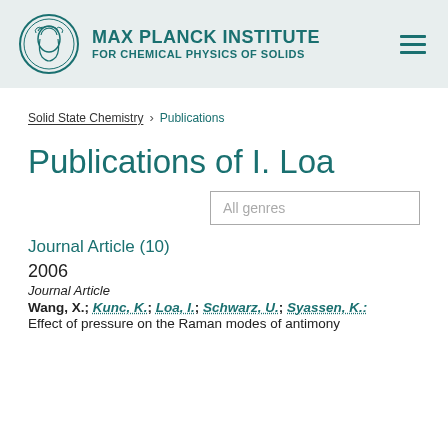MAX PLANCK INSTITUTE FOR CHEMICAL PHYSICS OF SOLIDS
Solid State Chemistry > Publications
Publications of I. Loa
Journal Article (10)
2006
Journal Article
Wang, X.; Kunc, K.; Loa, I.; Schwarz, U.; Syassen, K.:
Effect of pressure on the Raman modes of antimony